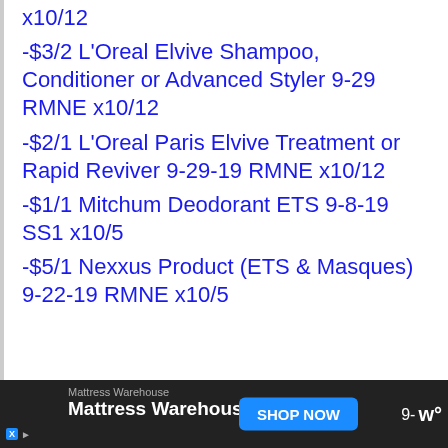x10/12
-$3/2 L'Oreal Elvive Shampoo, Conditioner or Advanced Styler 9-29 RMNE x10/12
-$2/1 L'Oreal Paris Elvive Treatment or Rapid Reviver 9-29-19 RMNE x10/12
-$1/1 Mitchum Deodorant ETS 9-8-19 SS1 x10/5
-$5/1 Nexxus Product (ETS & Masques) 9-22-19 RMNE x10/5
Mattress Warehouse | Mattress Warehouse | SHOP NOW